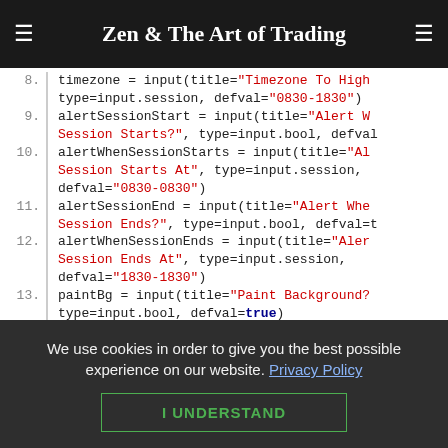Zen & The Art of Trading
[Figure (screenshot): Code snippet showing Pine Script input definitions for timezone, alertSessionStart, alertWhenSessionStarts, alertSessionEnd, alertWhenSessionEnds, paintBg, blankInsideCandles, hideOn240AndAbove variables]
We use cookies in order to give you the best possible experience on our website. Privacy Policy
I UNDERSTAND